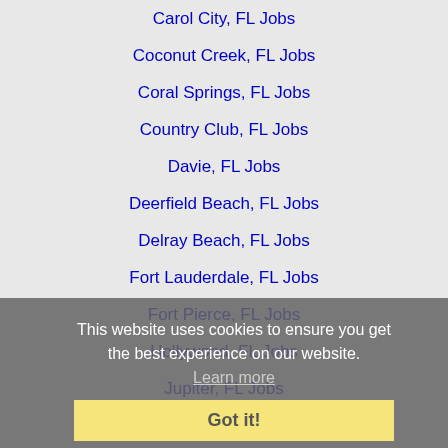Carol City, FL Jobs
Coconut Creek, FL Jobs
Coral Springs, FL Jobs
Country Club, FL Jobs
Davie, FL Jobs
Deerfield Beach, FL Jobs
Delray Beach, FL Jobs
Fort Lauderdale, FL Jobs
Fort Pierce, FL Jobs
Hollywood, FL Jobs
Jupiter, FL Jobs
Kendale Lakes, FL Jobs
Lauderhill, FL Jobs
Lehigh Acres, FL Jobs
Margate, FL Jobs
Melbourne, FL Jobs
Miami Gardens, FL Jobs
Miami Lakes, FL Jobs
This website uses cookies to ensure you get the best experience on our website. Learn more
Got it!